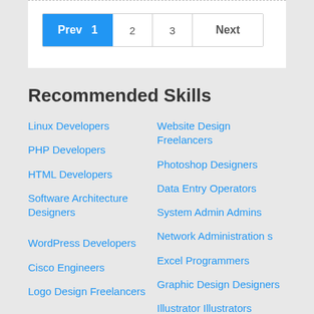[Figure (other): Pagination control with Prev, 1, 2, 3, Next buttons. Prev and 1 are highlighted in blue.]
Recommended Skills
Linux Developers
Website Design Freelancers
PHP Developers
Photoshop Designers
HTML Developers
Data Entry Operators
Software Architecture Designers
System Admin Admins
Network Administration s
WordPress Developers
Excel Programmers
Cisco Engineers
Graphic Design Designers
Logo Design Freelancers
Illustrator Illustrators